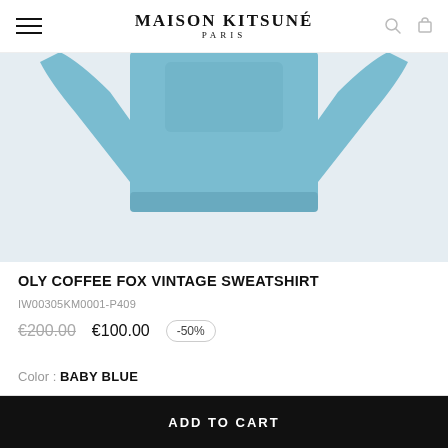MAISON KITSUNÉ PARIS
[Figure (photo): Blue sweatshirt (baby blue color) product photo showing the front/lay-flat view of the OLY Coffee Fox Vintage Sweatshirt, displayed on a light gray background.]
OLY COFFEE FOX VINTAGE SWEATSHIRT
IW00305KM0001-P409
€200.00  €100.00  -50%
Color :  BABY BLUE
ADD TO CART